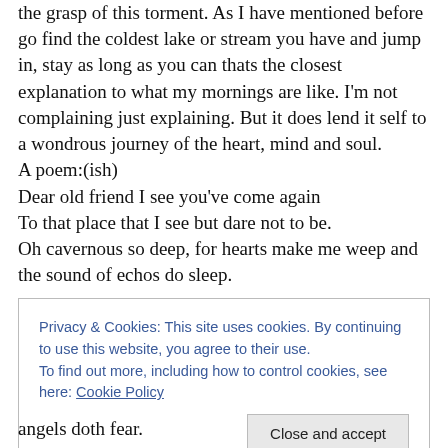the grasp of this torment. As I have mentioned before go find the coldest lake or stream you have and jump in, stay as long as you can thats the closest explanation to what my mornings are like. I'm not complaining just explaining. But it does lend it self to a wondrous journey of the heart, mind and soul.
A poem:(ish)
Dear old friend I see you've come again
To that place that I see but dare not to be.
Oh cavernous so deep, for hearts make me weep and the sound of echos do sleep.
Privacy & Cookies: This site uses cookies. By continuing to use this website, you agree to their use.
To find out more, including how to control cookies, see here: Cookie Policy
Close and accept
angels doth fear.